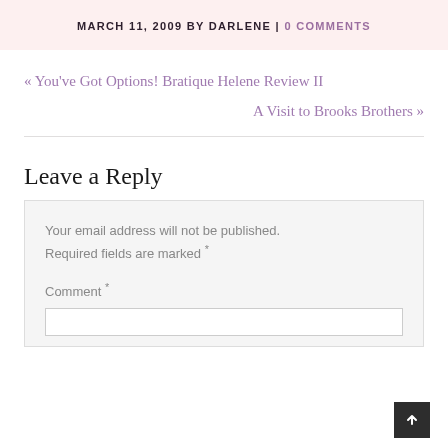MARCH 11, 2009 BY DARLENE | 0 COMMENTS
« You've Got Options! Bratique Helene Review II
A Visit to Brooks Brothers »
Leave a Reply
Your email address will not be published. Required fields are marked *
Comment *